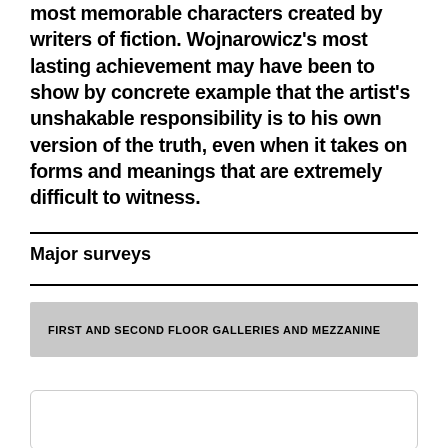most memorable characters created by writers of fiction. Wojnarowicz's most lasting achievement may have been to show by concrete example that the artist's unshakable responsibility is to his own version of the truth, even when it takes on forms and meanings that are extremely difficult to witness.
Major surveys
FIRST AND SECOND FLOOR GALLERIES AND MEZZANINE
Artist